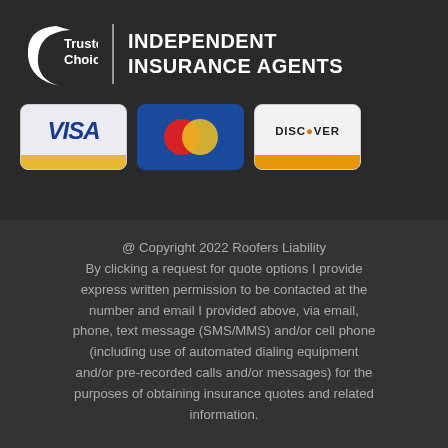[Figure (logo): Trusted Choice Independent Insurance Agents logo with crescent moon-like swoosh graphic and text]
[Figure (logo): Three payment card logos: VISA, Mastercard, and Discover]
@ Copyright 2022 Roofers Liability By clicking a request for quote options I provide express written permission to be contacted at the number and email I provided above, via email, phone, text message (SMS/MMS) and/or cell phone (including use of automated dialing equipment and/or pre-recorded calls and/or messages) for the purposes of obtaining insurance quotes and related information.